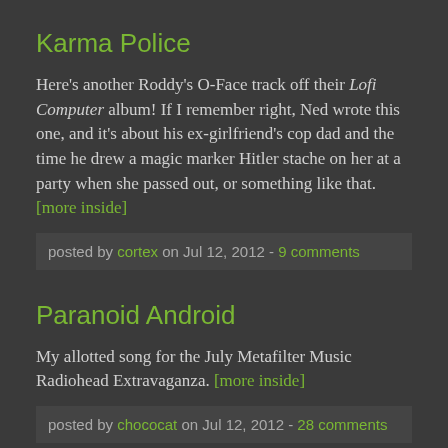Karma Police
Here's another Roddy's O-Face track off their Lofi Computer album! If I remember right, Ned wrote this one, and it's about his ex-girlfriend's cop dad and the time he drew a magic marker Hitler stache on her at a party when she passed out, or something like that. [more inside]
posted by cortex on Jul 12, 2012 - 9 comments
Paranoid Android
My allotted song for the July Metafilter Music Radiohead Extravaganza. [more inside]
posted by chococat on Jul 12, 2012 - 28 comments